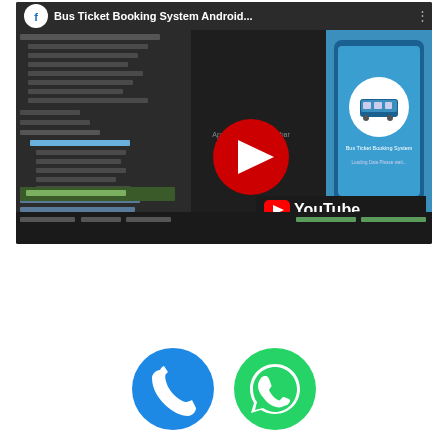[Figure (screenshot): YouTube video thumbnail showing 'Bus Ticket Booking System Android...' with an IDE panel on the left showing project files, a play button in the center, a phone mockup on the right showing the Bus Ticket Booking System app with a loading screen, and the YouTube logo in the bottom right corner.]
[Figure (screenshot): Two contact icons at the bottom: a blue phone/call icon and a green WhatsApp icon.]